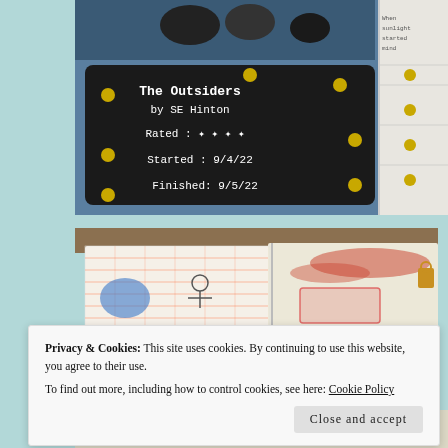[Figure (photo): Photo of a chalkboard book tracker showing 'The Outsiders by SE Hinton, Rated: 4 stars, Started: 9/4/22, Finished: 9/5/22' with gold polka dots. Right side shows a ruled notecard. Blue and black background with toy figures at top.]
[Figure (photo): Open bullet journal/notebook with grid pages, colorful drawings and doodles in orange/red/blue, a small padlock on the right side. Brown leather cover visible.]
Privacy & Cookies: This site uses cookies. By continuing to use this website, you agree to their use.
To find out more, including how to control cookies, see here: Cookie Policy
Close and accept
[Figure (photo): Partial view of another notebook or journal page, yellowed/aged paper with handwriting and grid lines.]